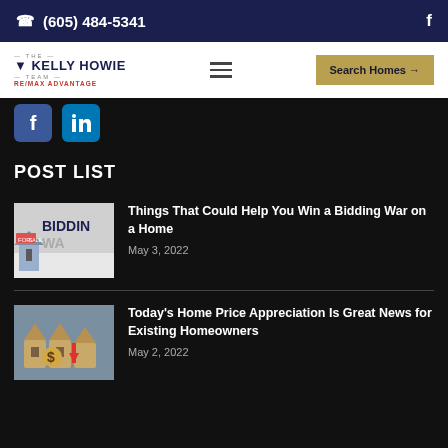(605) 484-5341  f
[Figure (logo): The Kelly Howie Team RE/MAX Advantage logo]
Search Homes →
[Figure (illustration): Facebook and LinkedIn social media icon buttons]
POST LIST
[Figure (photo): Bidding War real estate themed image with text BIDDING WAR and FOR SALE sign]
Things That Could Help You Win a Bidding War on a Home
May 3, 2022
[Figure (photo): Home price appreciation image with money bags and red arrow pointing up]
Today's Home Price Appreciation Is Great News for Existing Homeowners
May 2, 2022